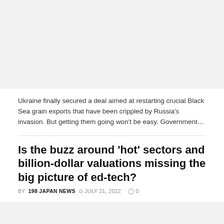[Figure (photo): Large image placeholder at top of page, light gray background]
Ukraine finally secured a deal aimed at restarting crucial Black Sea grain exports that have been crippled by Russia's invasion. But getting them going won't be easy. Government...
Is the buzz around 'hot' sectors and billion-dollar valuations missing the big picture of ed-tech?
BY 198 JAPAN NEWS  © JULY 21, 2022  ◯ 0
[Figure (photo): Partial image placeholder at bottom of page, light gray background]